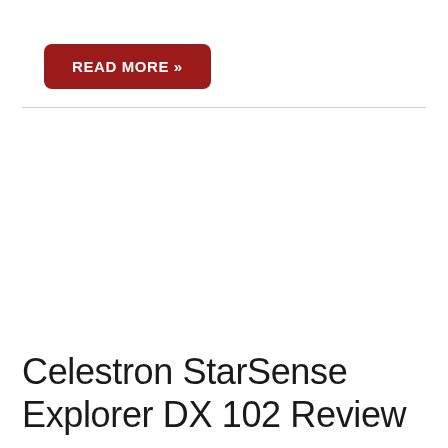READ MORE »
Celestron StarSense Explorer DX 102 Review